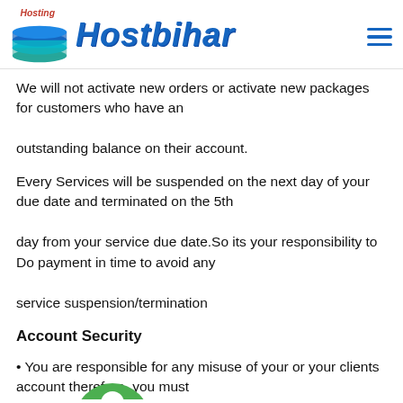Hostbihar
We will not activate new orders or activate new packages for customers who have an outstanding balance on their account.
Every Services will be suspended on the next day of your due date and terminated on the 5th day from your service due date.So its your responsibility to Do payment in time to avoid any service suspension/termination
Account Security
You are responsible for any misuse of your or your clients account therefore, you must
take steps to ensure that others do not gain unauthorised access to